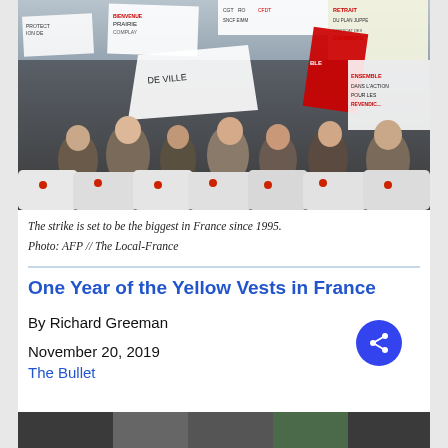[Figure (photo): A large protest crowd in France carrying banners and flags, including red CGT union flags and signs reading 'SYNDICAT DES CHEMINOTS', 'DANS L'ACTION POUR LES REVENDICATIONS', 'RETRAIT DU PLAN JUPPE', among others. Protest march photo in black and white era tones.]
The strike is set to be the biggest in France since 1995.
Photo: AFP  //  The Local-France
One Year of the Yellow Vests in France
By Richard Greeman
November 20, 2019
The Bullet
[Figure (photo): Partial bottom strip of another protest photo, partially visible at the bottom of the page.]